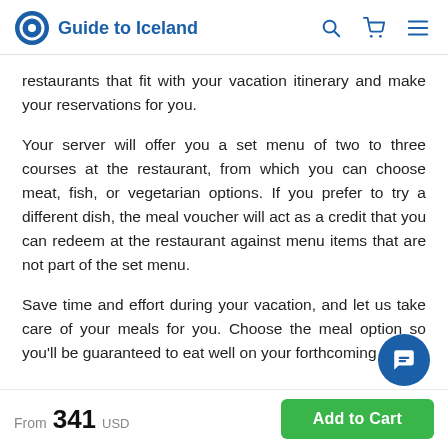Guide to Iceland
restaurants that fit with your vacation itinerary and make your reservations for you.
Your server will offer you a set menu of two to three courses at the restaurant, from which you can choose meat, fish, or vegetarian options. If you prefer to try a different dish, the meal voucher will act as a credit that you can redeem at the restaurant against menu items that are not part of the set menu.
Save time and effort during your vacation, and let us take care of your meals for you. Choose the meal option so you'll be guaranteed to eat well on your forthcoming trip.
From 341 USD  Add to Cart